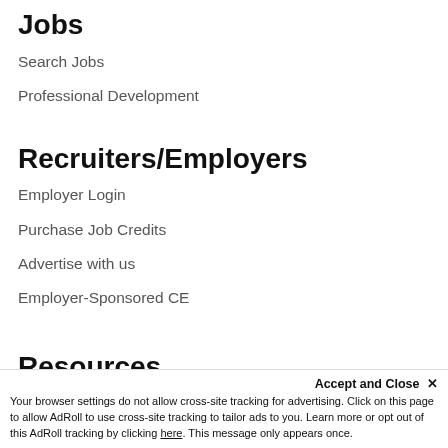Jobs
Search Jobs
Professional Development
Recruiters/Employers
Employer Login
Purchase Job Credits
Advertise with us
Employer-Sponsored CE
Resources
Blog
Resource Guides
Newsletter Sign-Up
Career Dev...
Support ...
Accept and Close ✕
Your browser settings do not allow cross-site tracking for advertising. Click on this page to allow AdRoll to use cross-site tracking to tailor ads to you. Learn more or opt out of this AdRoll tracking by clicking here. This message only appears once.